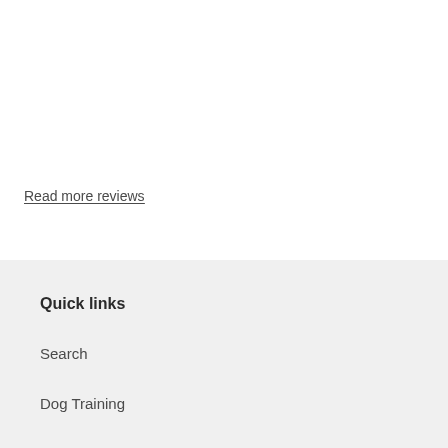Read more reviews
Quick links
Search
Dog Training